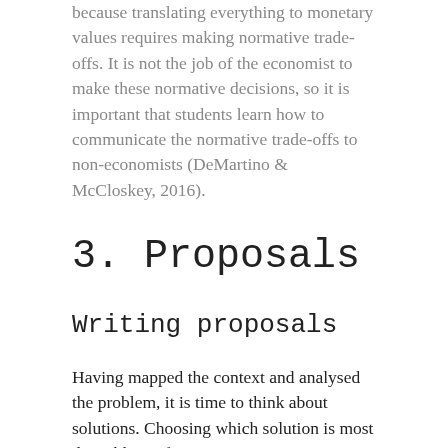because translating everything to monetary values requires making normative trade-offs. It is not the job of the economist to make these normative decisions, so it is important that students learn how to communicate the normative trade-offs to non-economists (DeMartino & McCloskey, 2016).
3. Proposals
Writing proposals
Having mapped the context and analysed the problem, it is time to think about solutions. Choosing which solution is most desirable is often not up to economists. However, we do need to be knowledgeable about the different normative principles that can guide decisions. This is an important element of Building Block 10: Economics